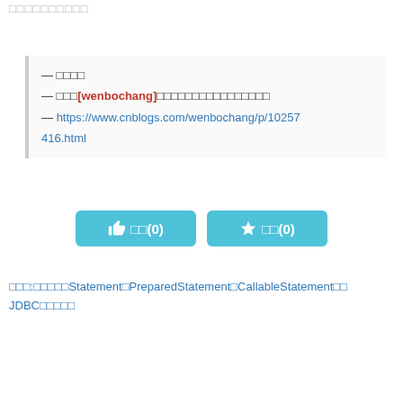□□□□□□□□□□
— □□□□
— □□□[wenbochang]□□□□□□□□□□□□□□□□
— https://www.cnblogs.com/wenbochang/p/10257416.html
□□(0)  □□(0)
□□□:□□□□□Statement□PreparedStatement□CallableStatement□□ JDBC□□□□□